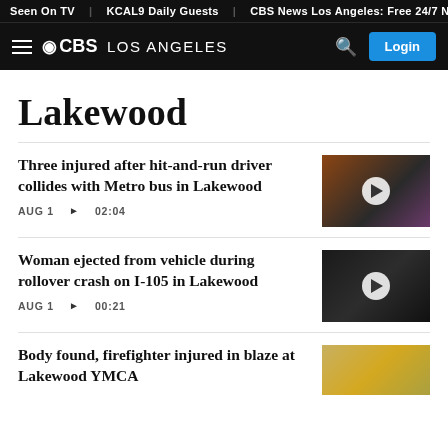Seen On TV | KCAL9 Daily Guests | CBS News Los Angeles: Free 24/7 N
CBS LOS ANGELES  Login
Lakewood
Three injured after hit-and-run driver collides with Metro bus in Lakewood
AUG 1  ▶ 02:04
[Figure (photo): Damaged Metro bus at night scene, orange/red and dark tones]
Woman ejected from vehicle during rollover crash on I-105 in Lakewood
AUG 1  ▶ 00:21
[Figure (photo): Nighttime rollover crash scene on highway, dark tones with tent visible]
Body found, firefighter injured in blaze at Lakewood YMCA